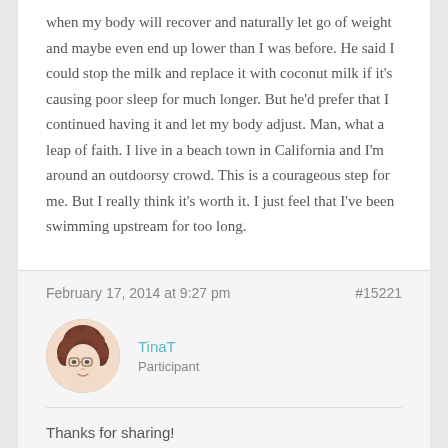when my body will recover and naturally let go of weight and maybe even end up lower than I was before. He said I could stop the milk and replace it with coconut milk if it's causing poor sleep for much longer. But he'd prefer that I continued having it and let my body adjust. Man, what a leap of faith. I live in a beach town in California and I'm around an outdoorsy crowd. This is a courageous step for me. But I really think it's worth it. I just feel that I've been swimming upstream for too long.
February 17, 2014 at 9:27 pm    #15221
TinaT
Participant
Thanks for sharing!
so, all in, you expect to top out 25lbs over your